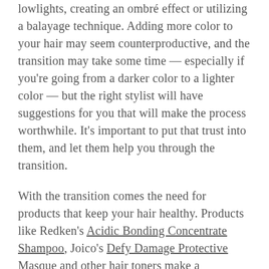lowlights, creating an ombré effect or utilizing a balayage technique. Adding more color to your hair may seem counterproductive, and the transition may take some time — especially if you're going from a darker color to a lighter color — but the right stylist will have suggestions for you that will make the process worthwhile. It's important to put that trust into them, and let them help you through the transition.
With the transition comes the need for products that keep your hair healthy. Products like Redken's Acidic Bonding Concentrate Shampoo, Joico's Defy Damage Protective Masque and other hair toners make a significant restorative difference while also